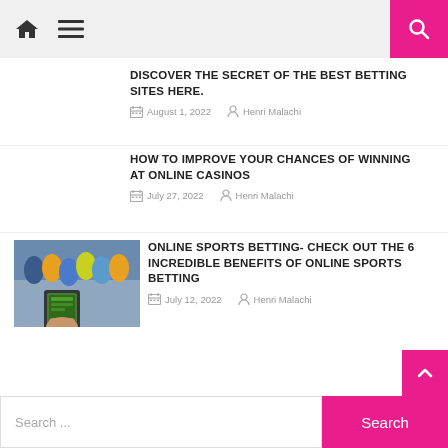Navigation bar with home icon, menu icon, and search button
DISCOVER THE SECRET OF THE BEST BETTING SITES HERE.
August 1, 2022  Henri Malachi
HOW TO IMPROVE YOUR CHANCES OF WINNING AT ONLINE CASINOS
July 27, 2022  Henri Malachi
[Figure (photo): Group of sports fans celebrating, one person holding a phone with betting app in foreground]
ONLINE SPORTS BETTING- CHECK OUT THE 6 INCREDIBLE BENEFITS OF ONLINE SPORTS BETTING
July 12, 2022  Henri Malachi
Search ...
Search button, back to top arrow